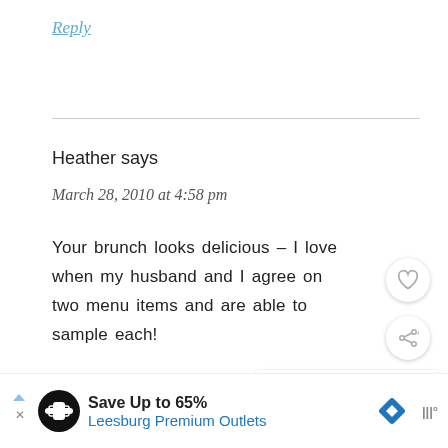Reply
Heather says
March 28, 2010 at 4:58 pm
Your brunch looks delicious – I love when my husband and I agree on two menu items and are able to sample each!
Those desserts look amazing – I wo definitely go back.
[Figure (other): Advertisement banner: Save Up to 65% Leesburg Premium Outlets]
[Figure (other): What's Next overlay showing thumbnail and text: You got it! - Kath Eats R...]